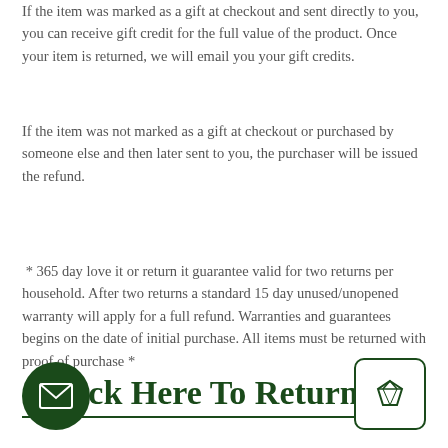If the item was marked as a gift at checkout and sent directly to you, you can receive gift credit for the full value of the product. Once your item is returned, we will email you your gift credits.
If the item was not marked as a gift at checkout or purchased by someone else and then later sent to you, the purchaser will be issued the refund.
* 365 day love it or return it guarantee valid for two returns per household. After two returns a standard 15 day unused/unopened warranty will apply for a full refund. Warranties and guarantees begins on the date of initial purchase. All items must be returned with proof of purchase *
Click Here To Return To